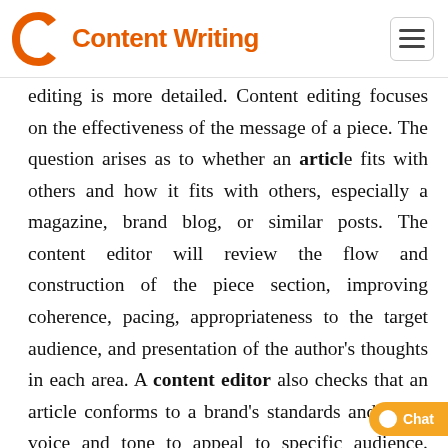Content Writing
editing is more detailed. Content editing focuses on the effectiveness of the message of a piece. The question arises as to whether an article fits with others and how it fits with others, especially a magazine, brand blog, or similar posts. The content editor will review the flow and construction of the piece section, improving coherence, pacing, appropriateness to the target audience, and presentation of the author's thoughts in each area. A content editor also checks that an article conforms to a brand's standards and brand voice and tone to appeal to specific audience. Sometimes this also